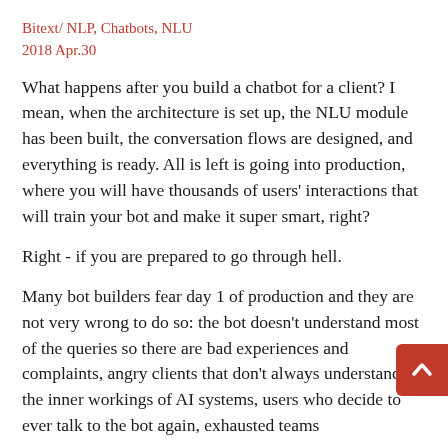Bitext/ NLP, Chatbots, NLU
2018 Apr.30
What happens after you build a chatbot for a client? I mean, when the architecture is set up, the NLU module has been built, the conversation flows are designed, and everything is ready. All is left is going into production, where you will have thousands of users' interactions that will train your bot and make it super smart, right?
Right - if you are prepared to go through hell.
Many bot builders fear day 1 of production and they are not very wrong to do so: the bot doesn't understand most of the queries so there are bad experiences and complaints, angry clients that don't always understand the inner workings of AI systems, users who decide to ever talk to the bot again, exhausted teams